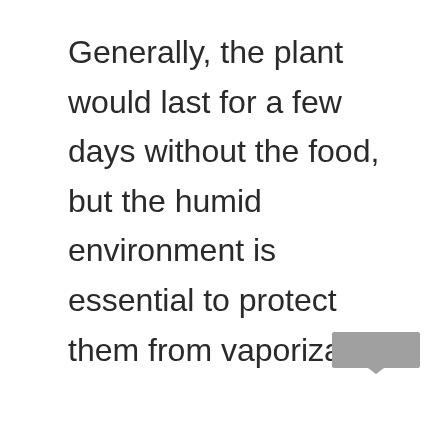Generally, the plant would last for a few days without the food, but the humid environment is essential to protect them from vaporization.
[Figure (other): Small gray rectangular UI element in the bottom-right area of the page]